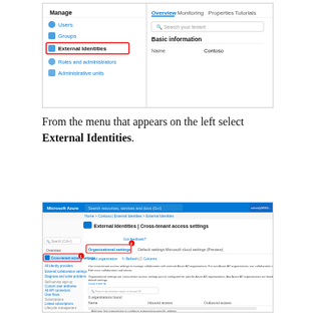[Figure (screenshot): Azure Active Directory portal screenshot showing Manage menu with Users, Groups, External Identities (highlighted in red box), Roles and administrators, Administrative units. Right panel shows Overview, Monitoring, Properties, Tutorials tabs with Search your tenant field, Basic information section with Name: Contoso.]
From the menu that appears on the left select External Identities.
[Figure (screenshot): Microsoft Azure portal showing External Identities | Cross-tenant access settings page. Left sidebar shows Cross-tenant access settings highlighted with red box labeled 1, and All identity providers, External collaboration settings, Diagnose and solve problems, Self-service sign-up section with Custom user attributes, All API connectors, User flows, Subscriptions with Linked subscriptions, Lifecycle management with Terms of use and Access reviews, Troubleshooting + Support with New support request. Main panel shows Organizational settings tab highlighted with red box labeled 2, Default settings and Microsoft cloud settings (Preview) tabs. Add organization, Refresh, Columns buttons. Text about cross-tenant access settings. Search by domain name or tenant ID field. 0 organizations found. Name, Inbound access, Outbound access columns. Add organization button.]